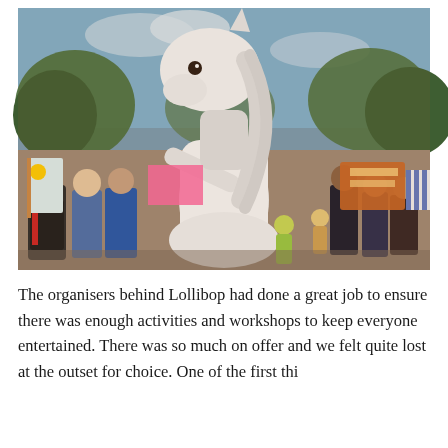[Figure (photo): A person dressed in a white unicorn costume on stilts at an outdoor festival (Lollibop). The performer wears a white wedding-style dress and a large unicorn head. A crowd of festival-goers, including children, surrounds them. Green trees and vendor tents are visible in the background.]
The organisers behind Lollibop had done a great job to ensure there was enough activities and workshops to keep everyone entertained. There was so much on offer and we felt quite lost at the outset for choice. One of the first thi...